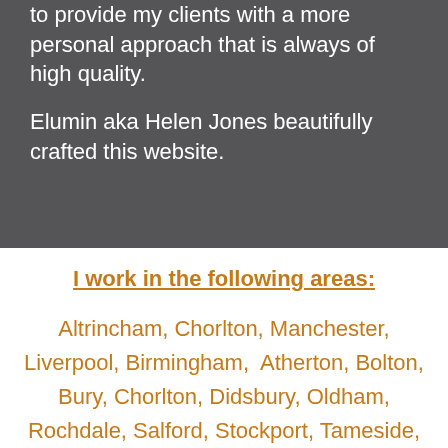to provide my clients with a more personal approach that is always of high quality.
Elumin aka Helen Jones beautifully crafted this website.
I work in the following areas:
Altrincham, Chorlton, Manchester, Liverpool, Birmingham, Atherton, Bolton, Bury, Chorlton, Didsbury, Oldham, Rochdale, Salford, Stockport, Tameside,